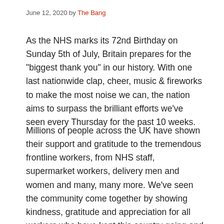June 12, 2020 by The Bang
As the NHS marks its 72nd Birthday on Sunday 5th of July, Britain prepares for the "biggest thank you" in our history. With one last nationwide clap, cheer, music & fireworks to make the most noise we can, the nation aims to surpass the brilliant efforts we've seen every Thursday for the past 10 weeks.
Millions of people across the UK have shown their support and gratitude to the tremendous frontline workers, from NHS staff, supermarket workers, delivery men and women and many, many more. We've seen the community come together by showing kindness, gratitude and appreciation for all workers who have kept this country going and kept the people of the UK safe.